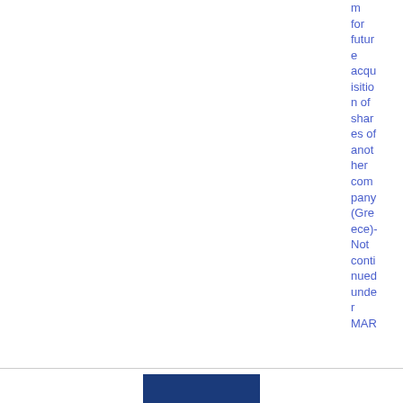m for future acquisition of shares of another company (Greece)- Not continued under MAR